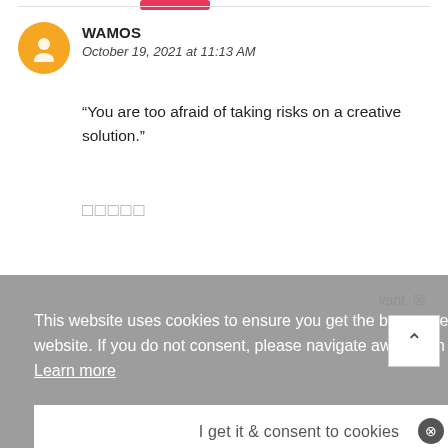[Figure (other): Partially visible pink/red button at the top of the page]
WAMOS
October 19, 2021 at 11:13 AM
“You are too afraid of taking risks on a creative solution.”
□□□□□
This website uses cookies to ensure you get the best experience on our website. If you do not consent, please navigate away from the website.  Learn more
I get it & consent to cookies
vant. ☒
⌃
.
⊘